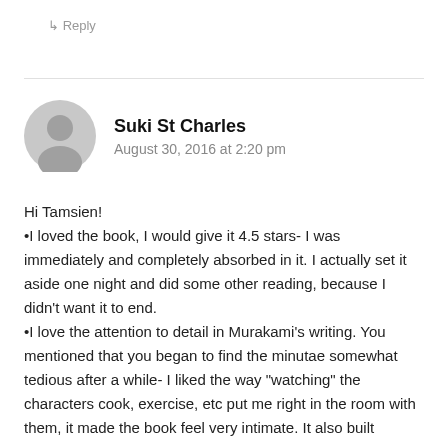↳ Reply
Suki St Charles
August 30, 2016 at 2:20 pm
Hi Tamsien!
•I loved the book, I would give it 4.5 stars- I was immediately and completely absorbed in it. I actually set it aside one night and did some other reading, because I didn't want it to end.
•I love the attention to detail in Murakami's writing. You mentioned that you began to find the minutae somewhat tedious after a while- I liked the way "watching" the characters cook, exercise, etc put me right in the room with them, it made the book feel very intimate. It also built